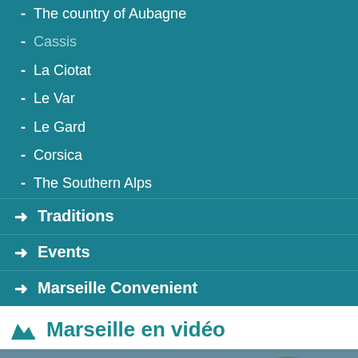- The country of Aubagne
- Cassis
- La Ciotat
- Le Var
- Le Gard
- Corsica
- The Southern Alps
→ Traditions
→ Events
→ Marseille Convenient
Marseille en vidéo
[Figure (screenshot): YouTube video thumbnail showing Marseille 2014 aerial view of the city and harbor, with Mars Production logo, play button overlay, and three-dot menu icon.]